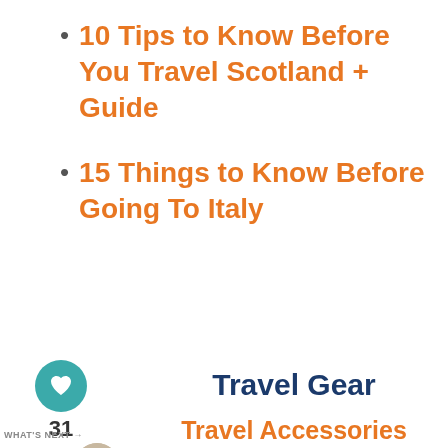10 Tips to Know Before You Travel Scotland + Guide
15 Things to Know Before Going To Italy
Travel Gear
Travel Accessories
Travel Apparel
Outdoor Gear